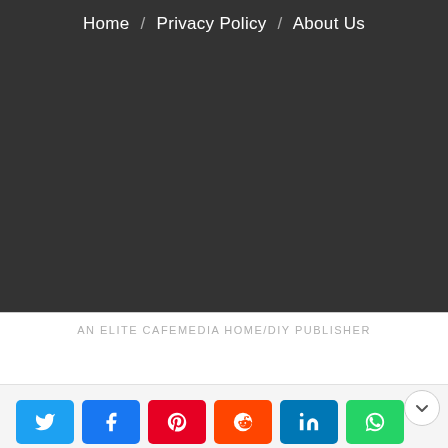Home / Privacy Policy / About Us
AN ELITE CAFEMEDIA HOME/DIY PUBLISHER
[Figure (other): Social media share buttons: Twitter, Facebook, Pinterest, Reddit, LinkedIn, WhatsApp]